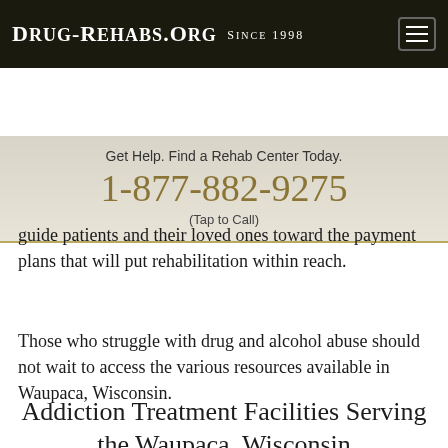Drug-Rehabs.org Since 1998
Get Help. Find a Rehab Center Today.
1-877-882-9275
(Tap to Call)
guide patients and their loved ones toward the payment plans that will put rehabilitation within reach.
Those who struggle with drug and alcohol abuse should not wait to access the various resources available in Waupaca, Wisconsin.
Addiction Treatment Facilities Serving the Waupaca, Wisconsin